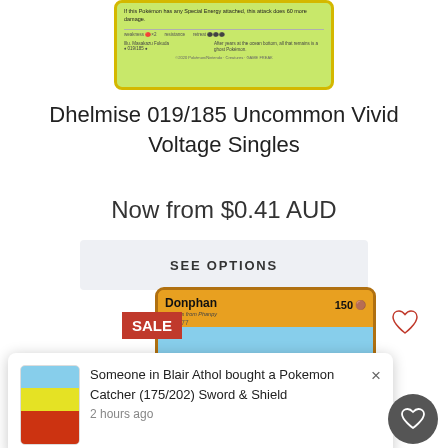[Figure (photo): Pokemon card (Dhelmise, green background) - top portion showing attack text and bottom stats]
Dhelmise 019/185 Uncommon Vivid Voltage Singles
Now from $0.41 AUD
SEE OPTIONS
[Figure (photo): Pokemon card (Donphan, orange/yellow background) with SALE badge, showing Donphan artwork, Earthquake attack (120 damage)]
Someone in Blair Athol bought a Pokemon Catcher (175/202) Sword & Shield
2 hours ago